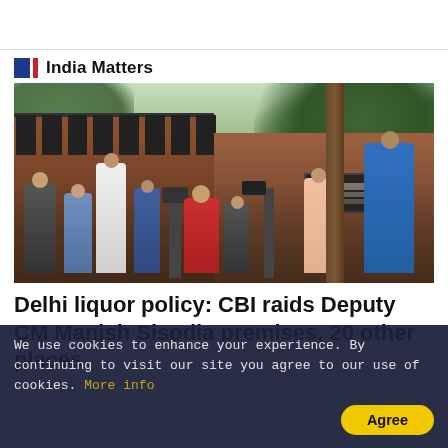India Matters
[Figure (photo): Crowd of journalists and media personnel with cameras gathered outside a gated premises, with trees in background and a red wall with a nameplate visible on the right side]
Delhi liquor policy: CBI raids Deputy CM Manish Sisodia premises, 20 other places
We use cookies to enhance your experience. By continuing to visit our site you agree to our use of cookies. More info